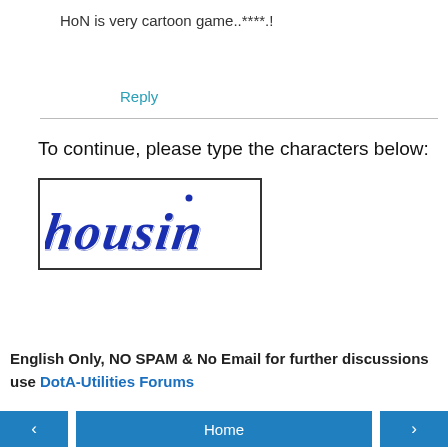HoN is very cartoon game..****.!
Reply
To continue, please type the characters below:
[Figure (other): CAPTCHA image showing the word 'housin' in stylized blue distorted text on white background]
[text input field for CAPTCHA]
English Only, NO SPAM & No Email for further discussions use DotA-Utilities Forums
< Home >